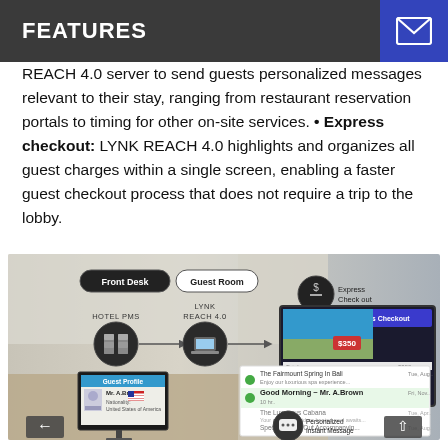FEATURES
REACH 4.0 server to send guests personalized messages relevant to their stay, ranging from restaurant reservation portals to timing for other on-site services. • Express checkout: LYNK REACH 4.0 highlights and organizes all guest charges within a single screen, enabling a faster guest checkout process that does not require a trip to the lobby.
[Figure (infographic): Diagram showing HOTEL PMS connected to LYNK REACH 4.0 server, with arrows to Express Checkout screen and Personalized Instant Message. Shows Front Desk and Guest Room labels, a monitor with Guest Profile (Mr. A.Brown, United States of America), and a TV screen showing Express Checkout with messages including 'Good Morning ~ Mr. A.Brown'. Navigation arrows at bottom left and right.]